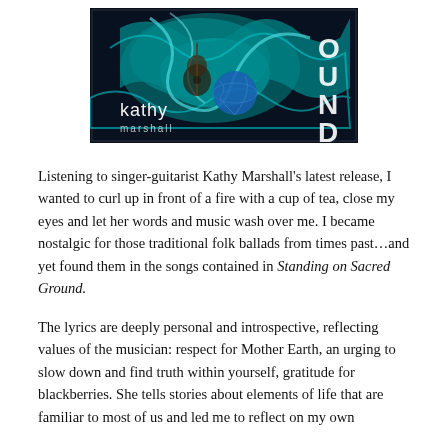[Figure (illustration): Album cover art for Kathy Marshall's 'Standing on Sacred Ground'. Features teal/turquoise swirling wave-like forms against a dark background, a guitar player silhouette, and a globe/Earth. Text on cover reads 'kathy marshall' in white and 'OUND' visible on right side (truncated 'GROUND'). Dark blue-black background.]
Listening to singer-guitarist Kathy Marshall's latest release, I wanted to curl up in front of a fire with a cup of tea, close my eyes and let her words and music wash over me. I became nostalgic for those traditional folk ballads from times past…and yet found them in the songs contained in Standing on Sacred Ground.
The lyrics are deeply personal and introspective, reflecting values of the musician: respect for Mother Earth, an urging to slow down and find truth within yourself, gratitude for blackberries. She tells stories about elements of life that are familiar to most of us and led me to reflect on my own